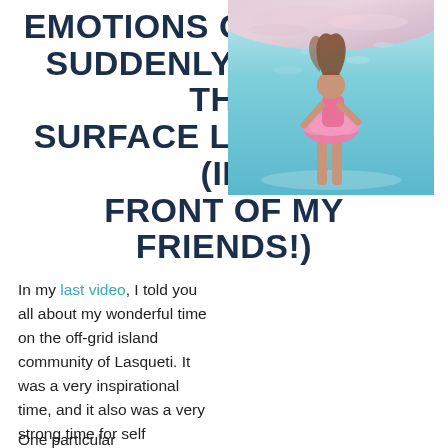EMOTIONS OVER ACNE SUDDENLY CAME TO THE SURFACE LAST WEEK (IN FRONT OF MY FRIENDS!)
In my last video, I told you all about my wonderful time on the off-grid island community of Lasqueti. It was a very inspirational time, and it also was a very strong time for self awareness and growth.
[Figure (photo): Underwater photo of a young girl in a pink dress and tutu, seen from below, floating in clear blue-teal water with light reflections on the surface above.]
One particular